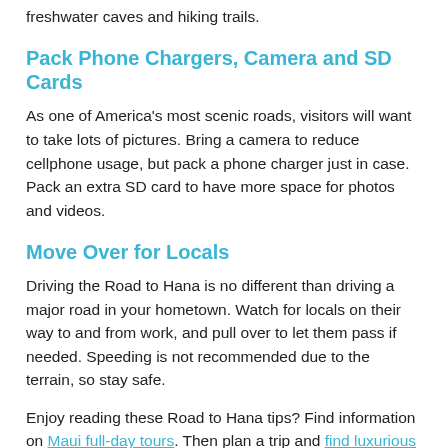freshwater caves and hiking trails.
Pack Phone Chargers, Camera and SD Cards
As one of America's most scenic roads, visitors will want to take lots of pictures. Bring a camera to reduce cellphone usage, but pack a phone charger just in case. Pack an extra SD card to have more space for photos and videos.
Move Over for Locals
Driving the Road to Hana is no different than driving a major road in your hometown. Watch for locals on their way to and from work, and pull over to let them pass if needed. Speeding is not recommended due to the terrain, so stay safe.
Enjoy reading these Road to Hana tips? Find information on Maui full-day tours. Then plan a trip and find luxurious Maui rentals.